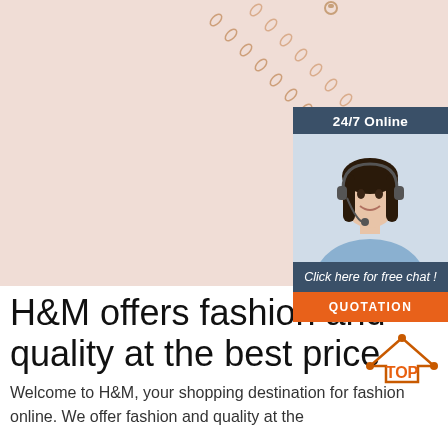[Figure (photo): Close-up photo of a rose gold chain necklace with small flower/cross charm on a pinkish-beige background]
[Figure (photo): 24/7 Online chat panel: header reading '24/7 Online', photo of woman with headset smiling, text 'Click here for free chat!', orange QUOTATION button]
H&M offers fashion and quality at the best price
[Figure (logo): TOP logo with orange text and upward arrow/house icon]
Welcome to H&M, your shopping destination for fashion online. We offer fashion and quality at the